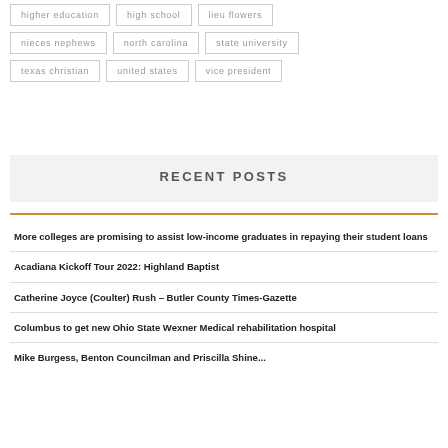higher education
high school
lieu flowers
nieces nephews
north carolina
state university
texas christian
united states
vice president
RECENT POSTS
More colleges are promising to assist low-income graduates in repaying their student loans
Acadiana Kickoff Tour 2022: Highland Baptist
Catherine Joyce (Coulter) Rush – Butler County Times-Gazette
Columbus to get new Ohio State Wexner Medical rehabilitation hospital
Mike Burgess, Benton Councilman and Priscilla Shine...